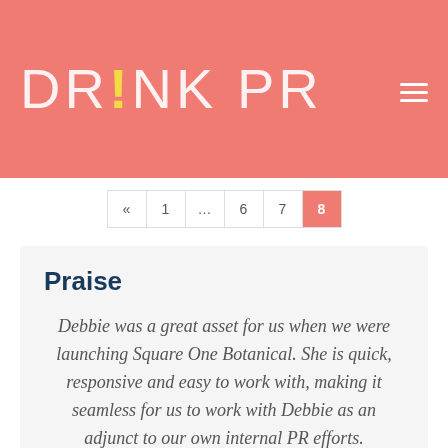DRINK PR
« 1 ... 6 7 8
Praise
Debbie was a great asset for us when we were launching Square One Botanical. She is quick, responsive and easy to work with, making it seamless for us to work with Debbie as an adjunct to our own internal PR efforts.
Allison Evanow, Founder, Square